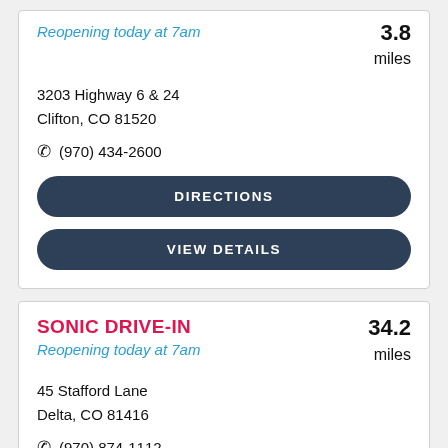Reopening today at 7am
3.8 miles
3203 Highway 6 & 24
Clifton, CO 81520
(970) 434-2600
DIRECTIONS
VIEW DETAILS
SONIC DRIVE-IN
Reopening today at 7am
34.2 miles
45 Stafford Lane
Delta, CO 81416
(970) 874-1112
DIRECTIONS